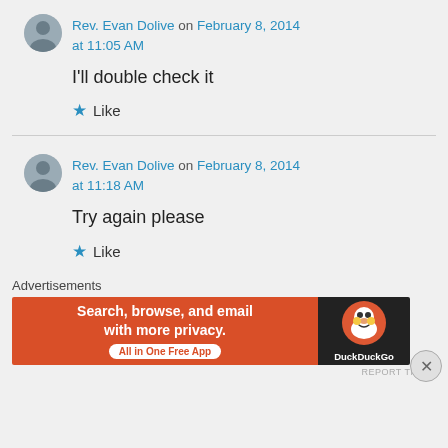Rev. Evan Dolive on February 8, 2014 at 11:05 AM
I'll double check it
Like
Rev. Evan Dolive on February 8, 2014 at 11:18 AM
Try again please
Like
Advertisements
[Figure (infographic): DuckDuckGo advertisement banner: orange left section with text 'Search, browse, and email with more privacy.' and 'All in One Free App' button; dark right section with DuckDuckGo logo and name.]